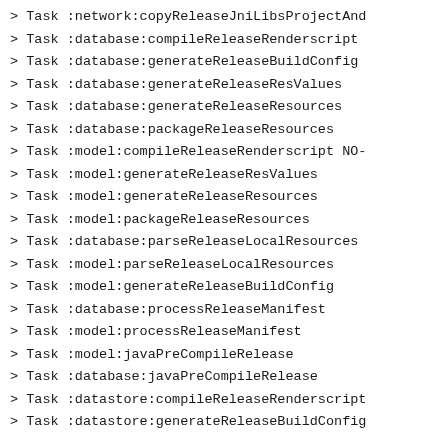> Task :network:copyReleaseJniLibsProjectAnd
> Task :database:compileReleaseRenderscript
> Task :database:generateReleaseBuildConfig
> Task :database:generateReleaseResValues
> Task :database:generateReleaseResources
> Task :database:packageReleaseResources
> Task :model:compileReleaseRenderscript NO-
> Task :model:generateReleaseResValues
> Task :model:generateReleaseResources
> Task :model:packageReleaseResources
> Task :database:parseReleaseLocalResources
> Task :model:parseReleaseLocalResources
> Task :model:generateReleaseBuildConfig
> Task :database:processReleaseManifest
> Task :model:processReleaseManifest
> Task :model:javaPreCompileRelease
> Task :database:javaPreCompileRelease
> Task :datastore:compileReleaseRenderscript
> Task :datastore:generateReleaseBuildConfig